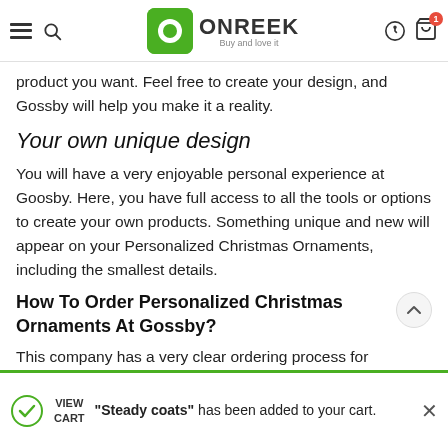ONREEK - Buy and love it
product you want. Feel free to create your design, and Gossby will help you make it a reality.
Your own unique design
You will have a very enjoyable personal experience at Goosby. Here, you have full access to all the tools or options to create your own products. Something unique and new will appear on your Personalized Christmas Ornaments, including the smallest details.
How To Order Personalized Christmas Ornaments At Gossby?
This company has a very clear ordering process for the convenience of customers ordering and buying at Goosby. The process consists of three quick and straightforward steps:
"Steady coats" has been added to your cart.